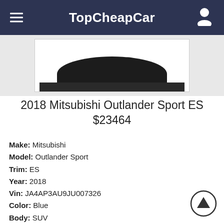TopCheapCar
[Figure (photo): Partial view of a dark/black SUV (Mitsubishi Outlander Sport) from above, showing the roofline, against a white background inside a bordered image box]
2018 Mitsubishi Outlander Sport ES
$23464
Make: Mitsubishi
Model: Outlander Sport
Trim: ES
Year: 2018
Vin: JA4AP3AU9JU007326
Color: Blue
Body: SUV
Transmission: Manual
Engine: 4 Cyl
Drive: FWD
Fuel: Gasoline
Zip: 28213